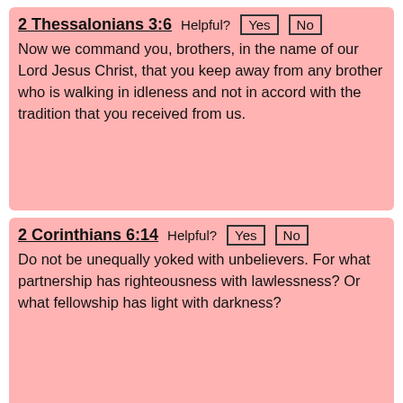2 Thessalonians 3:6
Now we command you, brothers, in the name of our Lord Jesus Christ, that you keep away from any brother who is walking in idleness and not in accord with the tradition that you received from us.
2 Corinthians 6:14
Do not be unequally yoked with unbelievers. For what partnership has righteousness with lawlessness? Or what fellowship has light with darkness?